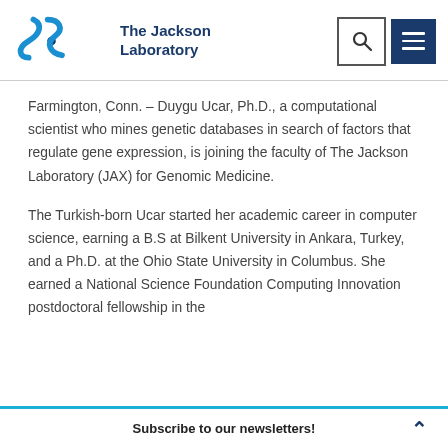[Figure (logo): The Jackson Laboratory logo with stylized JAX letters and wordmark]
Farmington, Conn. – Duygu Ucar, Ph.D., a computational scientist who mines genetic databases in search of factors that regulate gene expression, is joining the faculty of The Jackson Laboratory (JAX) for Genomic Medicine.
The Turkish-born Ucar started her academic career in computer science, earning a B.S at Bilkent University in Ankara, Turkey, and a Ph.D. at the Ohio State University in Columbus. She earned a National Science Foundation Computing Innovation postdoctoral fellowship in the
Subscribe to our newsletters!